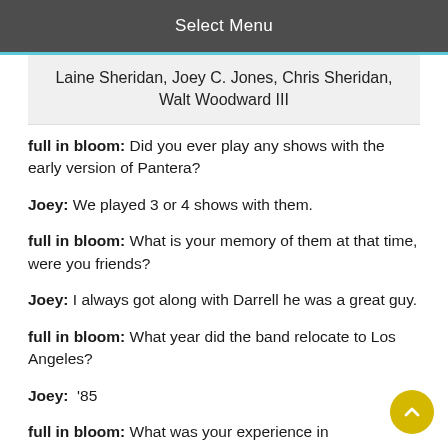Select Menu
Laine Sheridan, Joey C. Jones, Chris Sheridan, Walt Woodward III
full in bloom: Did you ever play any shows with the early version of Pantera?
Joey: We played 3 or 4 shows with them.
full in bloom: What is your memory of them at that time, were you friends?
Joey: I always got along with Darrell he was a great guy.
full in bloom: What year did the band relocate to Los Angeles?
Joey:  ‘85
full in bloom: What was your experience in